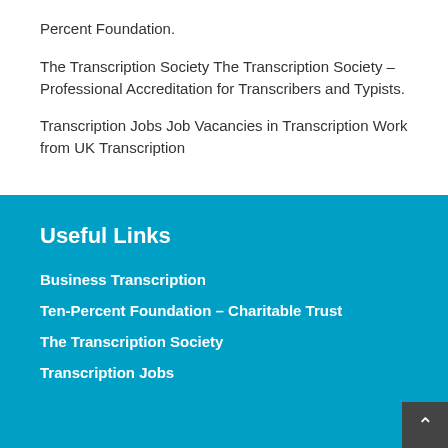Percent Foundation.
The Transcription Society The Transcription Society – Professional Accreditation for Transcribers and Typists.
Transcription Jobs Job Vacancies in Transcription Work from UK Transcription
Useful Links
Business Transcription
Ten-Percent Foundation – Charitable Trust
The Transcription Society
Transcription Jobs